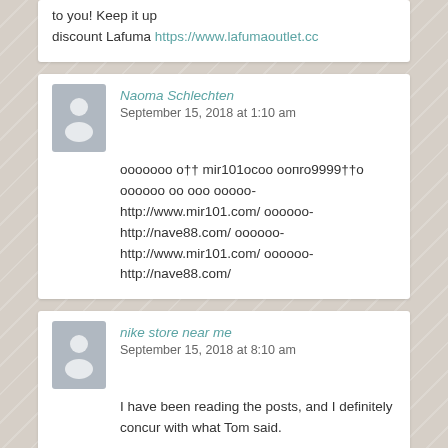to you! Keep it up discount Lafuma https://www.lafumaoutlet.cc
Naoma Schlechten
September 15, 2018 at 1:10 am
ооооооо о†† mir101оcoо оопro9999††о оооооо оо ооо ооооо-http://www.mir101.com/ оооооо-http://nave88.com/ оооооо-http://www.mir101.com/ оооооо-http://nave88.com/
nike store near me
September 15, 2018 at 8:10 am
I have been reading the posts, and I definitely concur with what Tom said.